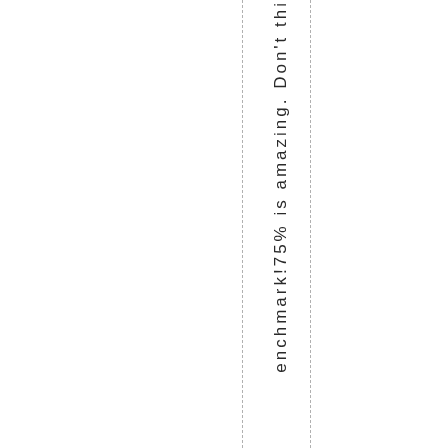enchmark!75% is amazing. Don't thi